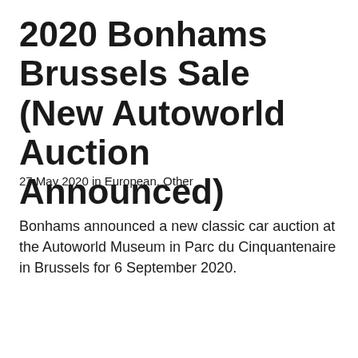2020 Bonhams Brussels Sale (New Autoworld Auction Announced)
27 May 2020 in European, Other
Bonhams announced a new classic car auction at the Autoworld Museum in Parc du Cinquantenaire in Brussels for 6 September 2020.